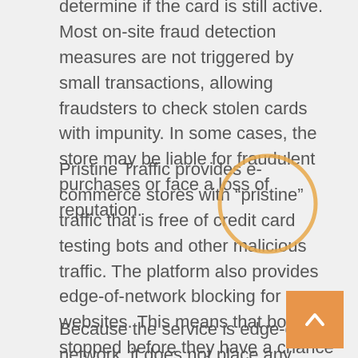determine if the card is still active. Most on-site fraud detection measures are not triggered by small transactions, allowing fraudsters to check stolen cards with impunity. In some cases, the store may be liable for fraudulent purchases or face a loss of reputation.
Pristine Traffic provides e-commerce stores with “pristine” traffic that is free of credit card testing bots and other malicious traffic. The platform also provides edge-of-network blocking for websites. This means that bots are stopped before they have a chance to enter the site and find or exploit a weakness in security. By providing an obstacle to the generalized bots, hackers are more likely to choose a different target for custom attacks.
Because the service is edge-of-network, it does not place any major load on the network. This prevents